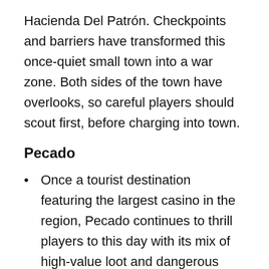Hacienda Del Patrón. Checkpoints and barriers have transformed this once-quiet small town into a war zone. Both sides of the town have overlooks, so careful players should scout first, before charging into town.
Pecado
Once a tourist destination featuring the largest casino in the region, Pecado continues to thrill players to this day with its mix of high-value loot and dangerous sightlines. Aggressive players will immediately loot the Arena and Casino, but savvy players should check out the A